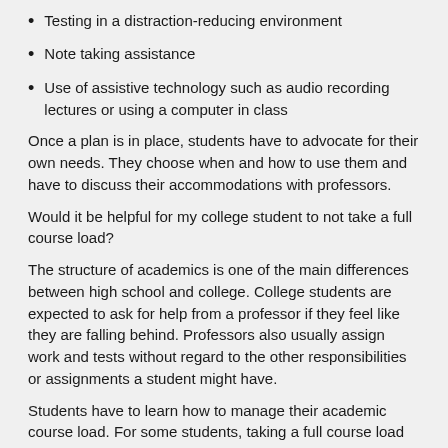Testing in a distraction-reducing environment
Note taking assistance
Use of assistive technology such as audio recording lectures or using a computer in class
Once a plan is in place, students have to advocate for their own needs. They choose when and how to use them and have to discuss their accommodations with professors.
Would it be helpful for my college student to not take a full course load?
The structure of academics is one of the main differences between high school and college. College students are expected to ask for help from a professor if they feel like they are falling behind. Professors also usually assign work and tests without regard to the other responsibilities or assignments a student might have.
Students have to learn how to manage their academic course load. For some students, taking a full course load